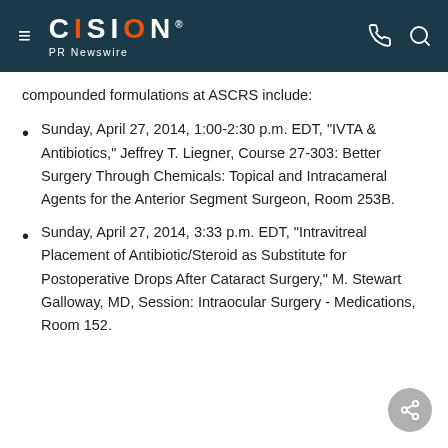CISION PR Newswire
compounded formulations at ASCRS include:
Sunday, April 27, 2014, 1:00-2:30 p.m. EDT, "IVTA & Antibiotics," Jeffrey T. Liegner, Course 27-303: Better Surgery Through Chemicals: Topical and Intracameral Agents for the Anterior Segment Surgeon, Room 253B.
Sunday, April 27, 2014, 3:33 p.m. EDT, "Intravitreal Placement of Antibiotic/Steroid as Substitute for Postoperative Drops After Cataract Surgery," M. Stewart Galloway, MD, Session: Intraocular Surgery - Medications, Room 152.